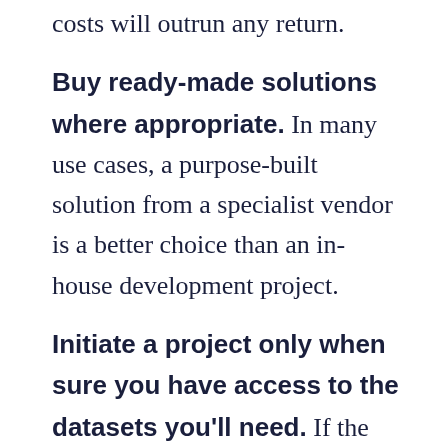costs will outrun any return.
Buy ready-made solutions where appropriate. In many use cases, a purpose-built solution from a specialist vendor is a better choice than an in-house development project.
Initiate a project only when sure you have access to the datasets you’ll need. If the data is tied up by third-parties